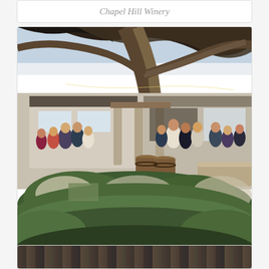Chapel Hill Winery
[Figure (photo): Outdoor gathering at Lake Breeze Wines winery, showing a crowd of people socialising on the grounds, surrounded by native Australian trees and garden shrubs, with a modern winery building in the background.]
Lake Breeze Wines
[Figure (photo): Partial view of another winery venue at the bottom of the page, showing what appears to be an evening/night outdoor setting.]